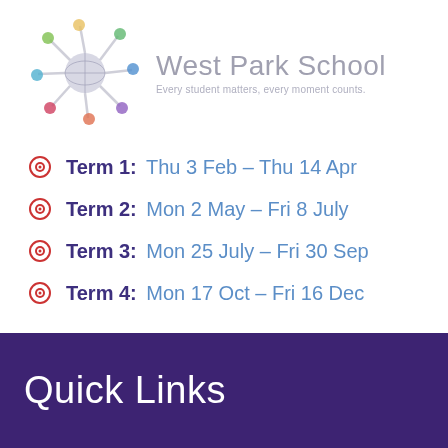[Figure (logo): West Park School logo with colorful sunburst/people figures around a globe, with school name 'West Park School' and tagline 'Every student matters, every moment counts.']
Term 1: Thu 3 Feb – Thu 14 Apr
Term 2: Mon 2 May – Fri 8 July
Term 3: Mon 25 July – Fri 30 Sep
Term 4: Mon 17 Oct – Fri 16 Dec
Quick Links